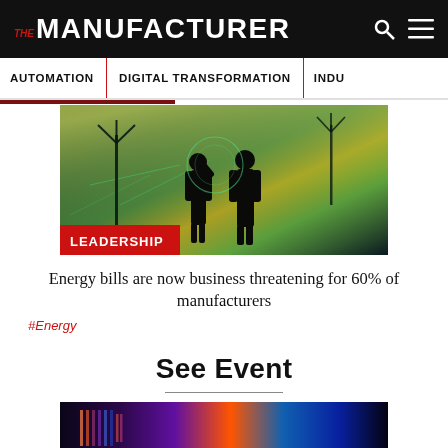THE MANUFACTURER
AUTOMATION | DIGITAL TRANSFORMATION | INDU…
[Figure (photo): Two silhouetted workers standing in front of wind turbines with a digital/technological overlay in green and yellow tones. A red 'LEADERSHIP' tag is overlaid at the bottom left.]
Energy bills are now business threatening for 60% of manufacturers
#Energy
See Event
[Figure (photo): Partial view of a data centre or technology event image with colorful lights in blue, orange, and purple.]